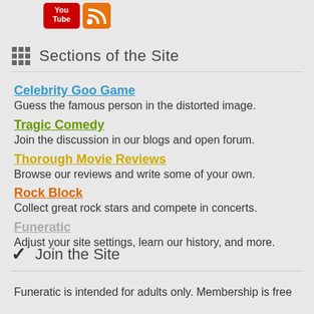[Figure (logo): YouTube logo icon and RSS feed icon]
Sections of the Site
Celebrity Goo Game
Guess the famous person in the distorted image.
Tragic Comedy
Join the discussion in our blogs and open forum.
Thorough Movie Reviews
Browse our reviews and write some of your own.
Rock Block
Collect great rock stars and compete in concerts.
Funeratic
Adjust your site settings, learn our history, and more.
Join the Site
Funeratic is intended for adults only. Membership is free